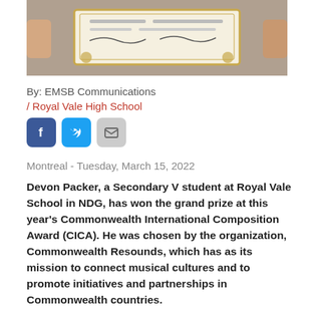[Figure (photo): Person holding a certificate with gold border, hands visible on left and right sides]
By: EMSB Communications / Royal Vale High School
[Figure (other): Social media icons: Facebook, Twitter, Email]
Montreal - Tuesday, March 15, 2022
Devon Packer, a Secondary V student at Royal Vale School in NDG, has won the grand prize at this year's Commonwealth International Composition Award (CICA). He was chosen by the organization, Commonwealth Resounds, which has as its mission to connect musical cultures and to promote initiatives and partnerships in Commonwealth countries.